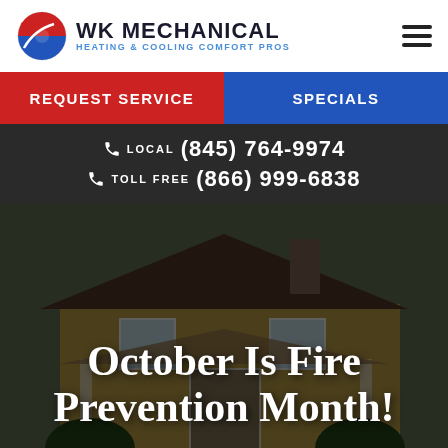[Figure (logo): WK Mechanical logo with circular red/blue icon with heat waves and text 'WK MECHANICAL HEATING & COOLING COMFORT PROS']
REQUEST SERVICE
SPECIALS
LOCAL (845) 764-9974
TOLL FREE (866) 999-6838
[Figure (photo): A residential house with yellow siding and dark roof, outdoor porch, partially dark overlay]
October Is Fire Prevention Month!